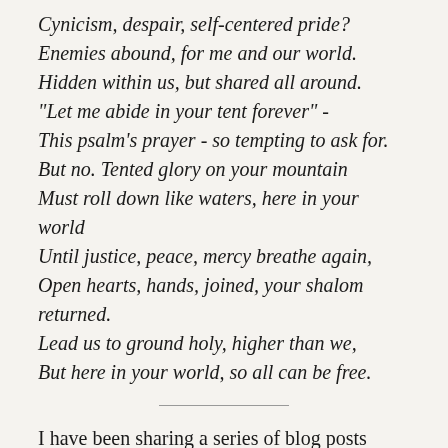Cynicism, despair, self-centered pride?
Enemies abound, for me and our world.
Hidden within us, but shared all around.
"Let me abide in your tent forever" -
This psalm’s prayer - so tempting to ask for.
But no. Tented glory on your mountain
Must roll down like waters, here in your world
Until justice, peace, mercy breathe again,
Open hearts, hands, joined, your shalom returned.
Lead us to ground holy, higher than we,
But here in your world, so all can be free.
I have been sharing a series of blog posts called